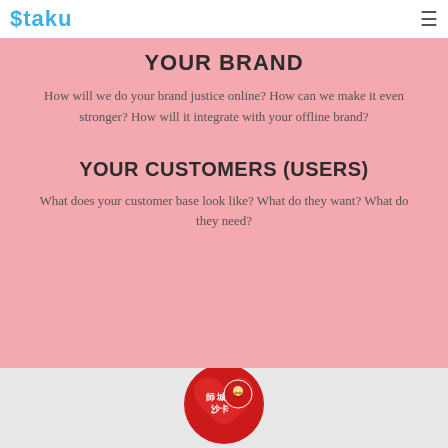OTAKU (logo) | hamburger menu
YOUR BRAND
How will we do your brand justice online? How can we make it even stronger? How will it integrate with your offline brand?
YOUR CUSTOMERS (USERS)
What does your customer base look like? What do they want? What do they need?
[Figure (logo): Red circular logo with Chinese characters and a lion/mascot face illustration]